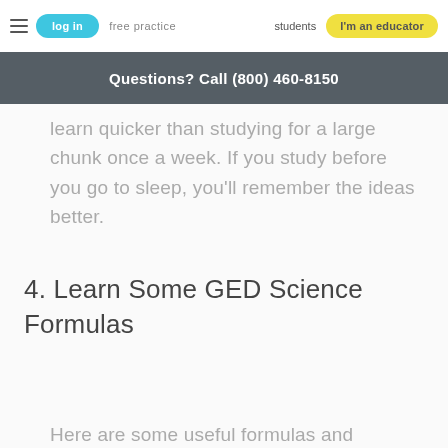log in   free practice   students   I'm an educator
Questions? Call (800) 460-8150
learn quicker than studying for a large chunk once a week. If you study before you go to sleep, you'll remember the ideas better.
4. Learn Some GED Science Formulas
Here are some useful formulas and equations to be familiar with for the GED science test. You'll